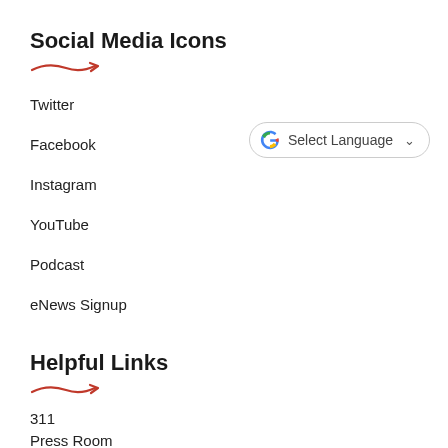Social Media Icons
Twitter
Facebook
Instagram
YouTube
Podcast
eNews Signup
Helpful Links
311
Press Room